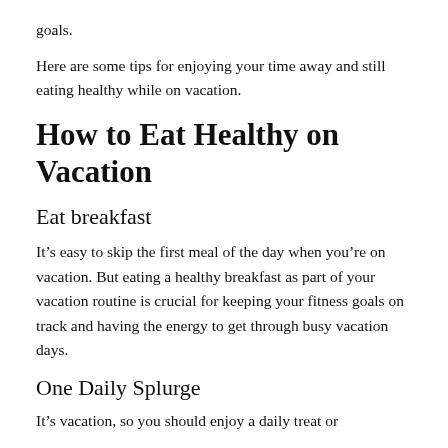goals.
Here are some tips for enjoying your time away and still eating healthy while on vacation.
How to Eat Healthy on Vacation
Eat breakfast
It’s easy to skip the first meal of the day when you’re on vacation. But eating a healthy breakfast as part of your vacation routine is crucial for keeping your fitness goals on track and having the energy to get through busy vacation days.
One Daily Splurge
It’s vacation, so you should enjoy a daily treat or